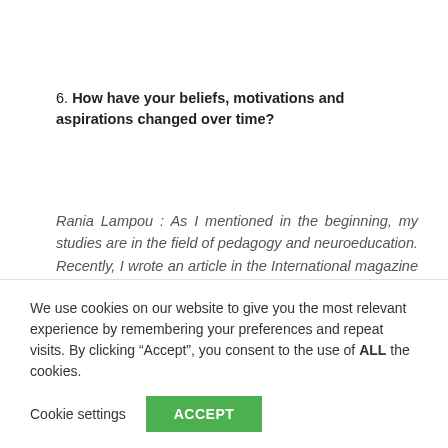6. How have your beliefs, motivations and aspirations changed over time?
Rania Lampou : As I mentioned in the beginning, my studies are in the field of pedagogy and neuroeducation. Recently, I wrote an article in the International magazine K-12 Digest which had a great impact all over the world, and it was actually a guide to educators about how to use
We use cookies on our website to give you the most relevant experience by remembering your preferences and repeat visits. By clicking “Accept”, you consent to the use of ALL the cookies.
Cookie settings    ACCEPT